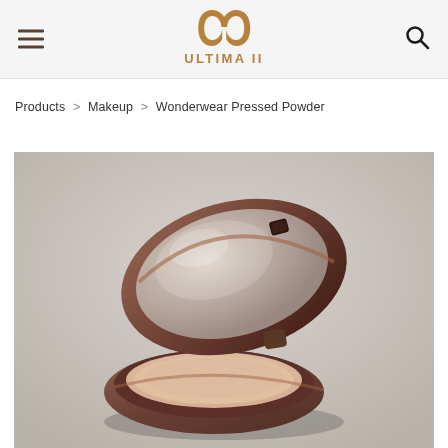ULTIMA II
Products > Makeup > Wonderwear Pressed Powder
[Figure (photo): Open compact powder case with bronze/brown frame showing pressed powder and mirror, photographed on a light grey background]